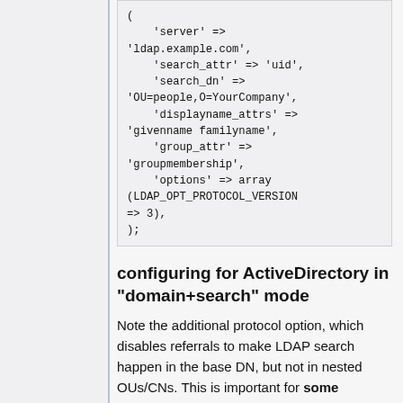[Figure (other): Code block showing LDAP PHP configuration array with server, search_attr, search_dn, displayname_attrs, group_attr, options keys]
configuring for ActiveDirectory in "domain+search" mode
Note the additional protocol option, which disables referrals to make LDAP search happen in the base DN, but not in nested OUs/CNs. This is important for some ActiveDirectory servers.